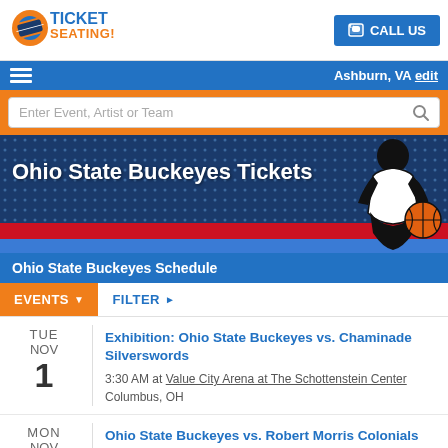[Figure (logo): Ticket Seating logo with orange ticket graphic and blue/orange text]
CALL US
Ashburn, VA edit
Enter Event, Artist or Team
[Figure (illustration): Ohio State Buckeyes Tickets banner with basketball player silhouette on blue dotted background with red stripe]
Ohio State Buckeyes Tickets
Ohio State Buckeyes Schedule
EVENTS ▼   FILTER ►
TUE NOV 1 — Exhibition: Ohio State Buckeyes vs. Chaminade Silverswords — 3:30 AM at Value City Arena at The Schottenstein Center, Columbus, OH
MON NOV 7 — Ohio State Buckeyes vs. Robert Morris Colonials — 3:30 AM at Value City Arena at The Schottenstein Center, Columbus, OH